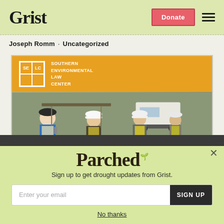Grist | Donate | Menu
Joseph Romm · Uncategorized
[Figure (photo): Southern Environmental Law Center (SELC) branded image with orange banner and logo, showing construction workers in hard hats and safety vests at a worksite]
Parched
Sign up to get drought updates from Grist.
Enter your email | SIGN UP
No thanks